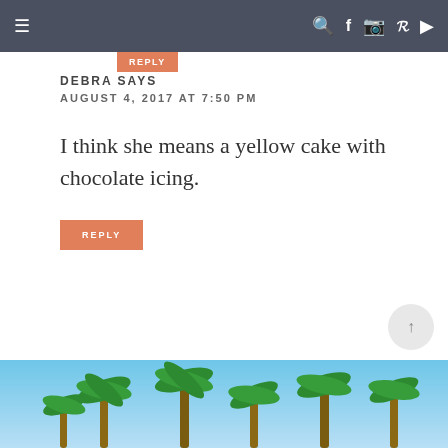≡  🔍 f 📷 𝗣 ▶
DEBRA SAYS
AUGUST 4, 2017 AT 7:50 PM
I think she means a yellow cake with chocolate icing.
REPLY
[Figure (photo): Advertisement banner with palm trees against a blue sky]